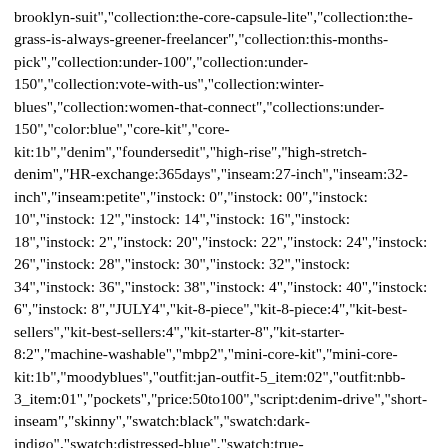brooklyn-suit","collection:the-core-capsule-lite","collection:the-grass-is-always-greener-freelancer","collection:this-months-pick","collection:under-100","collection:under-150","collection:vote-with-us","collection:winter-blues","collection:women-that-connect","collections:under-150","color:blue","core-kit","core-kit:1b","denim","foundersedit","high-rise","high-stretch-denim","HR-exchange:365days","inseam:27-inch","inseam:32-inch","inseam:petite","instock: 0","instock: 00","instock: 10","instock: 12","instock: 14","instock: 16","instock: 18","instock: 2","instock: 20","instock: 22","instock: 24","instock: 26","instock: 28","instock: 30","instock: 32","instock: 34","instock: 36","instock: 38","instock: 4","instock: 40","instock: 6","instock: 8","JULY4","kit-8-piece","kit-8-piece:4","kit-best-sellers","kit-best-sellers:4","kit-starter-8","kit-starter-8:2","machine-washable","mbp2","mini-core-kit","mini-core-kit:1b","moodyblues","outfit:jan-outfit-5_item:02","outfit:nbb-3_item:01","pockets","price:50to100","script:denim-drive","short-inseam","skinny","swatch:black","swatch:dark-indigo","swatch:distressed-blue","swatch:true-blue","swatch:white","tax:clothing","YBlocklist","YGroup_seine-high-rise-skinny-jeans"], "variants": [{ "available":true, "id": "39503105884206", "title":"00 \/ Distressed Blue"},{"available":true, "id": "15544594923566", "title":"0 \/ Distressed Blue"} ,{ "available":true, "id": "15544601608238", "title":"2 \/